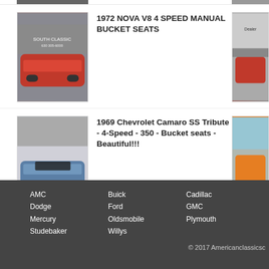[Figure (photo): Partial top of car listing images, cropped]
1972 NOVA V8 4 SPEED MANUAL BUCKET SEATS
[Figure (photo): Red 1972 Nova at dealership, left thumbnail]
[Figure (photo): Red Nova at dealership exterior, right thumbnail (partially cropped)]
1969 Chevrolet Camaro SS Tribute - 4-Speed - 350 - Bucket seats - Beautiful!!!
[Figure (photo): Blue 1969 Camaro SS, left thumbnail]
[Figure (photo): Orange muscle car at lot, right thumbnail (partially cropped)]
AMC
Dodge
Mercury
Studebaker
Buick
Ford
Oldsmobile
Willys
Cadillac
GMC
Plymouth
© 2017 Americanclassicsc